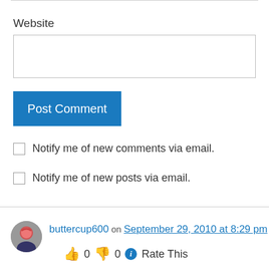Website
Post Comment
Notify me of new comments via email.
Notify me of new posts via email.
buttercup600 on September 29, 2010 at 8:29 pm
0  0  Rate This
I am so happy you have addressed this topic….it is a sad thing that happens way to often. Thanks for doing it my friend. Awesome post!! xx